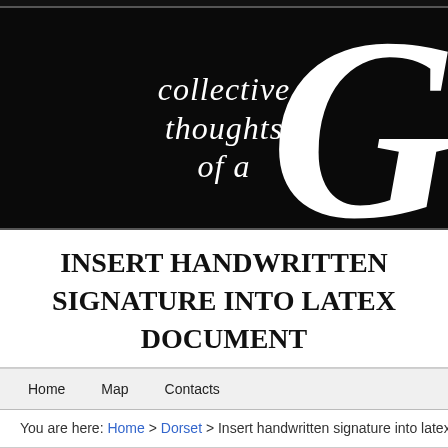[Figure (screenshot): Blog header banner with black background showing cursive white text 'collective thoughts of a' and a large decorative italic letter G on the right]
INSERT HANDWRITTEN SIGNATURE INTO LATEX DOCUMENT
Home  Map  Contacts
You are here: Home > Dorset > Insert handwritten signature into latex d